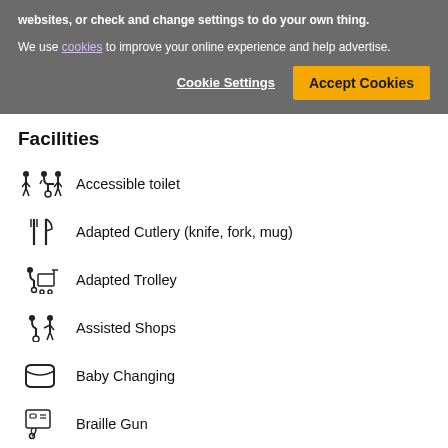websites, or check and change settings to do your own thing.
We use cookies to improve your online experience and help advertise.
Cookie Settings
Accept Cookies
Facilities
Accessible toilet
Adapted Cutlery (knife, fork, mug)
Adapted Trolley
Assisted Shops
Baby Changing
Braille Gun
Car Park
Cash Machine